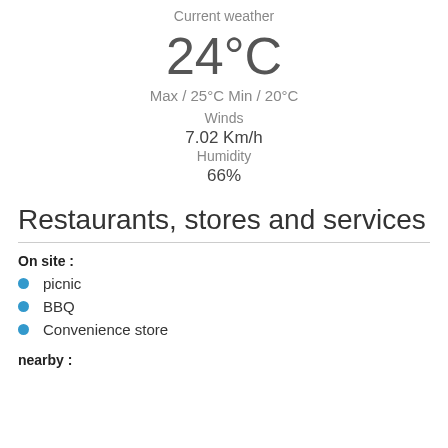Current weather
24°C
Max / 25°C Min / 20°C
Winds
7.02 Km/h
Humidity
66%
Restaurants, stores and services
On site :
picnic
BBQ
Convenience store
nearby :